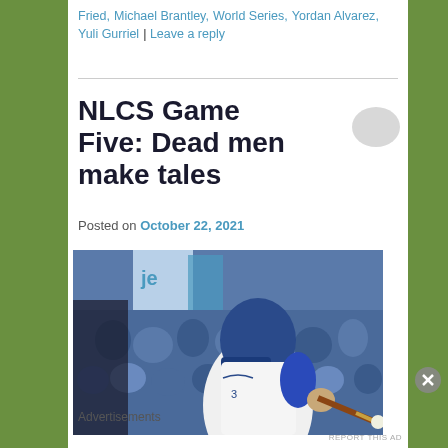Fried, Michael Brantley, World Series, Yordan Alvarez, Yuli Gurriel | Leave a reply
NLCS Game Five: Dead men make tales
Posted on October 22, 2021
[Figure (photo): A Dodgers baseball player in white uniform hitting a ball with a bat, crowd of blue-clad fans visible in the background]
Advertisements